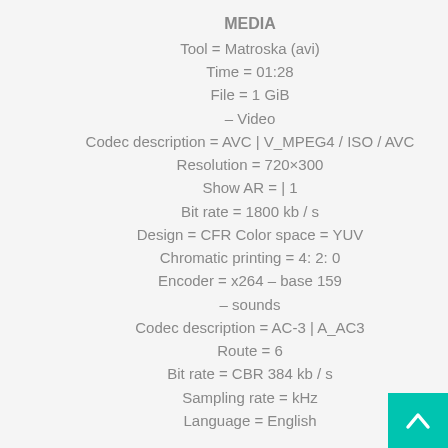MEDIA
Tool = Matroska (avi)
Time = 01:28
File = 1 GiB
– Video
Codec description = AVC | V_MPEG4 / ISO / AVC
Resolution = 720×300
Show AR = | 1
Bit rate = 1800 kb / s
Design = CFR Color space = YUV
Chromatic printing = 4: 2: 0
Encoder = x264 – base 159
– sounds
Codec description = AC-3 | A_AC3
Route = 6
Bit rate = CBR 384 kb / s
Sampling rate = kHz
Language = English